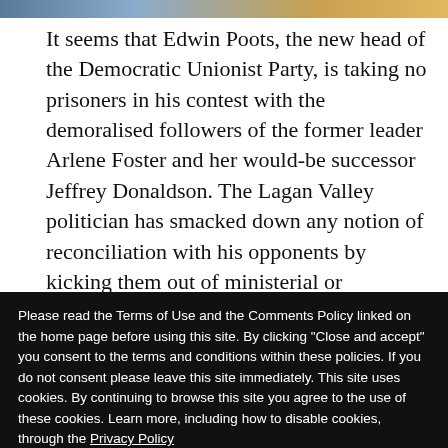[Figure (photo): Partial image strip at the top of the page showing a colorful banner or news photo]
It seems that Edwin Poots, the new head of the Democratic Unionist Party, is taking no prisoners in his contest with the demoralised followers of the former leader Arlene Foster and her would-be successor Jeffrey Donaldson. The Lagan Valley politician has smacked down any notion of reconciliation with his opponents by kicking them out of ministerial or committee positions at
Please read the Terms of Use and the Comments Policy linked on the home page before using this site. By clicking "Close and accept" you consent to the terms and conditions within these policies. If you do not consent please leave this site immediately. This site uses cookies. By continuing to browse this site you agree to the use of these cookies. Learn more, including how to disable cookies, through the Privacy Policy
militant-tuned-apostate Peter Robinson and a tightly